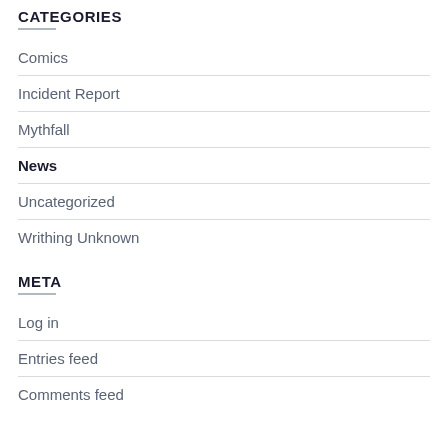CATEGORIES
Comics
Incident Report
Mythfall
News
Uncategorized
Writhing Unknown
META
Log in
Entries feed
Comments feed